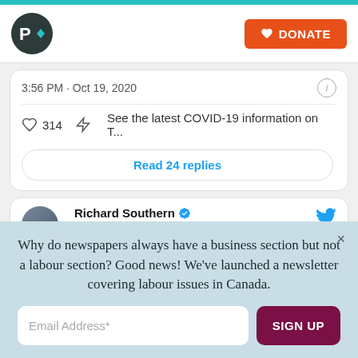[Figure (screenshot): Website header with logo (P with arrow icon) and orange DONATE button]
3:56 PM · Oct 19, 2020
314   See the latest COVID-19 information on T...
Read 24 replies
Richard Southern @RichardCitNews · Follow
Why do newspapers always have a business section but not a labour section? Good news! We've launched a newsletter covering labour issues in Canada.
Email Address*
SIGN UP